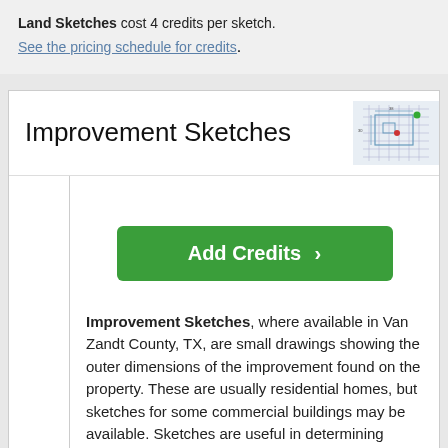Land Sketches cost 4 credits per sketch. See the pricing schedule for credits.
Improvement Sketches
[Figure (screenshot): Small thumbnail sketch/map image showing a property improvement drawing]
Add Credits ›
Improvement Sketches, where available in Van Zandt County, TX, are small drawings showing the outer dimensions of the improvement found on the property. These are usually residential homes, but sketches for some commercial buildings may be available. Sketches are useful in determining